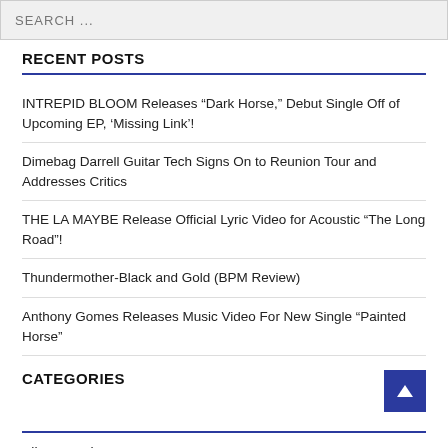SEARCH ...
RECENT POSTS
INTREPID BLOOM Releases “Dark Horse,” Debut Single Off of Upcoming EP, ‘Missing Link’!
Dimebag Darrell Guitar Tech Signs On to Reunion Tour and Addresses Critics
THE LA MAYBE Release Official Lyric Video for Acoustic “The Long Road”!
Thundermother-Black and Gold (BPM Review)
Anthony Gomes Releases Music Video For New Single “Painted Horse”
CATEGORIES
Album Reviews